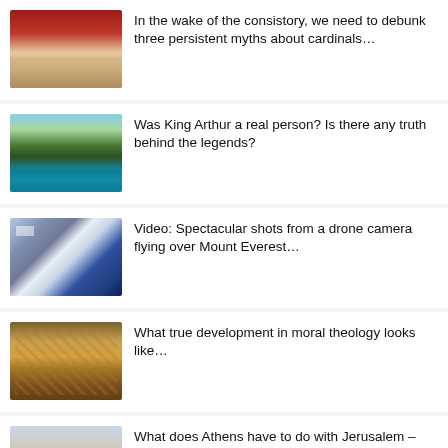In the wake of the consistory, we need to debunk three persistent myths about cardinals…
Was King Arthur a real person? Is there any truth behind the legends?
Video: Spectacular shots from a drone camera flying over Mount Everest…
What true development in moral theology looks like…
What does Athens have to do with Jerusalem – and what do either have to do with Silicon